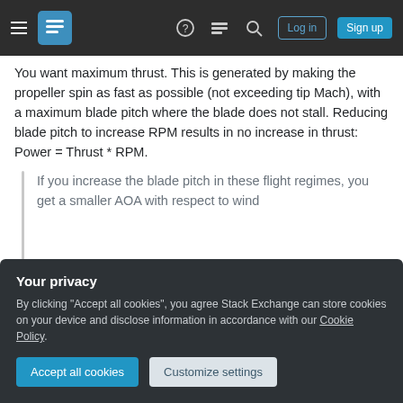Stack Exchange navigation bar with Log in and Sign up buttons
You want maximum thrust. This is generated by making the propeller spin as fast as possible (not exceeding tip Mach), with a maximum blade pitch where the blade does not stall. Reducing blade pitch to increase RPM results in no increase in thrust: Power = Thrust * RPM.
If you increase the blade pitch in these flight regimes, you get a smaller AOA with respect to wind
Your privacy
By clicking "Accept all cookies", you agree Stack Exchange can store cookies on your device and disclose information in accordance with our Cookie Policy.